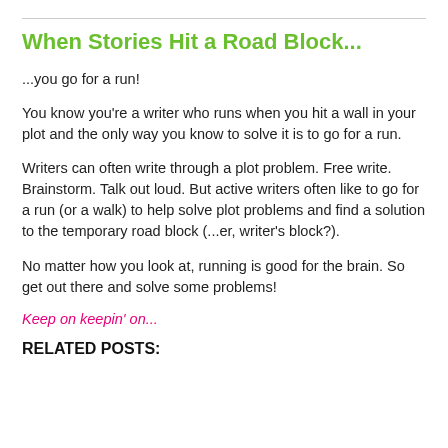When Stories Hit a Road Block...
...you go for a run!
You know you're a writer who runs when you hit a wall in your plot and the only way you know to solve it is to go for a run.
Writers can often write through a plot problem. Free write. Brainstorm. Talk out loud. But active writers often like to go for a run (or a walk) to help solve plot problems and find a solution to the temporary road block (...er, writer's block?).
No matter how you look at, running is good for the brain. So get out there and solve some problems!
Keep on keepin' on...
RELATED POSTS: